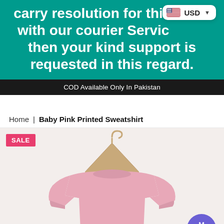carry resolution for this issue with our courier Service, but then your kind support is requested in this regard.
[Figure (screenshot): USD currency selector badge with US flag and dropdown arrow]
COD Available Only In Pakistan
Home | Baby Pink Printed Sweatshirt
[Figure (photo): Baby pink printed sweatshirt hanging on a wooden hanger against a light background, with SALE badge and gift button overlay]